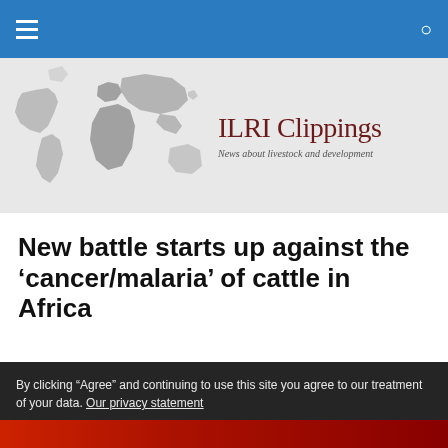ILRI Clippings — News about livestock and development
[Figure (illustration): ILRI Clippings website header banner with a greyscale world map on the left and 'ILRI Clippings' title in dark red serif font with subtitle 'News about livestock and development' in italic on the right, on a light grey background]
New battle starts up against the ‘cancer/malaria’ of cattle in Africa
By clicking “Agree” and continuing to use this site you agree to our treatment of your data. Our privacy statement
[Figure (photo): Bottom strip showing a close-up photo of red flowers or plants]